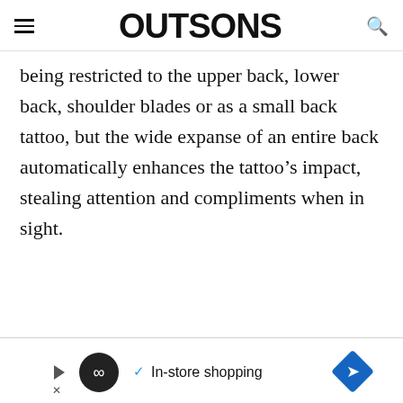OUTSONS
being restricted to the upper back, lower back, shoulder blades or as a small back tattoo, but the wide expanse of an entire back automatically enhances the tattoo’s impact, stealing attention and compliments when in sight.
[Figure (infographic): Advertisement banner with play button, circular logo with infinity symbol, checkmark and 'In-store shopping' text, and a blue diamond arrow icon.]